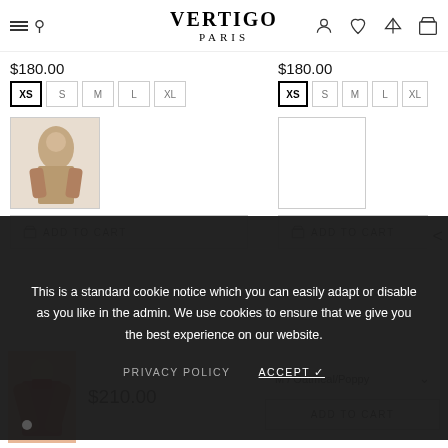VERTIGO PARIS
$180.00
$180.00
Cookie notice: This is a standard cookie notice which you can easily adapt or disable as you like in the admin. We use cookies to ensure that we give you the best experience on our website.
PRIVACY POLICY   ACCEPT ✓
$210.00
M / Oatmeal/Poppy
ADD TO CART